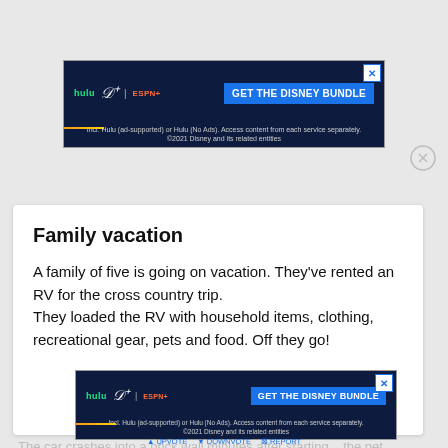[Figure (other): Disney Bundle advertisement banner: dark navy background with Hulu, Disney+, and ESPN+ logos, blue 'GET THE DISNEY BUNDLE' call-to-action button, disclaimer text below, close X button top right, gold accent line bottom left]
Family vacation
A family of five is going on vacation. They've rented an RV for the cross country trip.
They loaded the RV with household items, clothing, recreational gear, pets and food. Off they go!
The car crashes into a brick wall minutes after starting... the pet ...
[Figure (other): Disney Bundle advertisement banner (second instance): same as top banner]